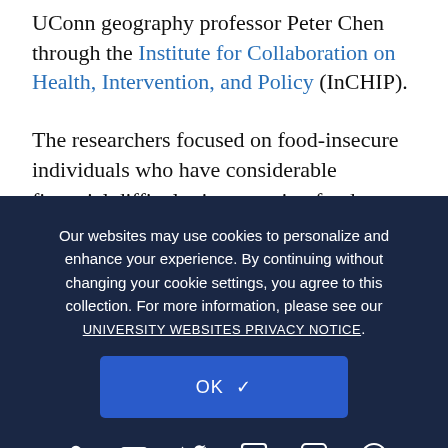UConn geography professor Peter Chen through the Institute for Collaboration on Health, Intervention, and Policy (InCHIP).
The researchers focused on food-insecure individuals who have considerable financial difficulty in procuring food.
The [researchers used] measurement... survey. They asked respondents if they worried their food supply would run out before they had money to buy more, and if the food they bought just didn't last and they didn't have money to get more.
Our websites may use cookies to personalize and enhance your experience. By continuing without changing your cookie settings, you agree to this collection. For more information, please see our UNIVERSITY WEBSITES PRIVACY NOTICE.
Then, the [researchers tracked participants'] food shopping... they